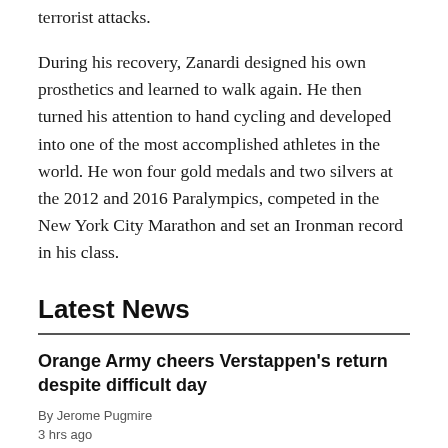terrorist attacks.
During his recovery, Zanardi designed his own prosthetics and learned to walk again. He then turned his attention to hand cycling and developed into one of the most accomplished athletes in the world. He won four gold medals and two silvers at the 2012 and 2016 Paralympics, competed in the New York City Marathon and set an Ironman record in his class.
Latest News
Orange Army cheers Verstappen's return despite difficult day
By Jerome Pugmire
3 hrs ago
F1 ruling clears way for Piastri to drive for McLaren in '23